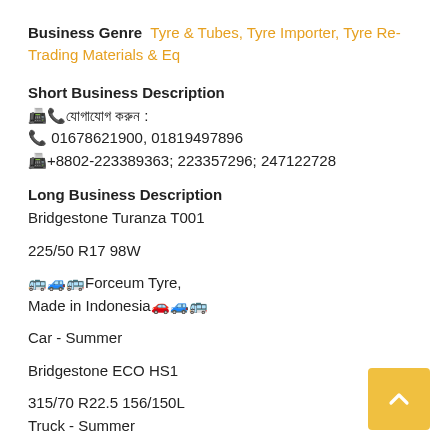Business Genre  Tyre & Tubes, Tyre Importer, Tyre Re-Trading Materials & Eq
Short Business Description
📠📞[Bengali text]: 
📞 01678621900, 01819497896
📠+8802-223389363; 223357296; 247122728
Long Business Description
Bridgestone Turanza T001

225/50 R17 98W

🚌🚙🚌Forceum Tyre,
Made in Indonesia🚗🚙🚌

Car - Summer

Bridgestone ECO HS1

315/70 R22.5 156/150L
Truck - Summer

Bridgestone R 249 Ecopia